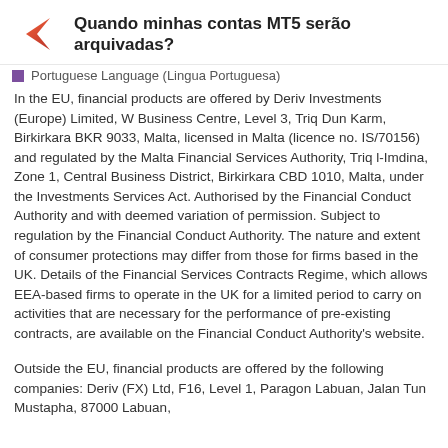Quando minhas contas MT5 serão arquivadas?
Portuguese Language (Lingua Portuguesa)
In the EU, financial products are offered by Deriv Investments (Europe) Limited, W Business Centre, Level 3, Triq Dun Karm, Birkirkara BKR 9033, Malta, licensed in Malta (licence no. IS/70156) and regulated by the Malta Financial Services Authority, Triq l-Imdina, Zone 1, Central Business District, Birkirkara CBD 1010, Malta, under the Investments Services Act. Authorised by the Financial Conduct Authority and with deemed variation of permission. Subject to regulation by the Financial Conduct Authority. The nature and extent of consumer protections may differ from those for firms based in the UK. Details of the Financial Services Contracts Regime, which allows EEA-based firms to operate in the UK for a limited period to carry on activities that are necessary for the performance of pre-existing contracts, are available on the Financial Conduct Authority's website.
Outside the EU, financial products are offered by the following companies: Deriv (FX) Ltd, F16, Level 1, Paragon Labuan, Jalan Tun Mustapha, 87000 Labuan,